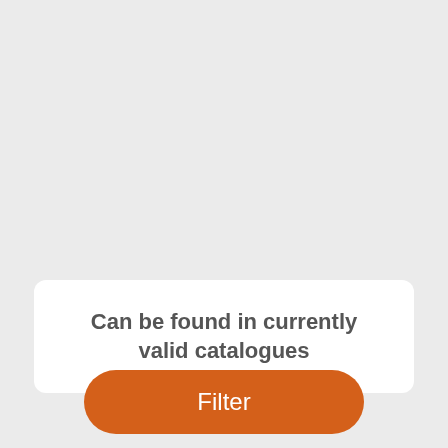Can be found in currently valid catalogues
Filter